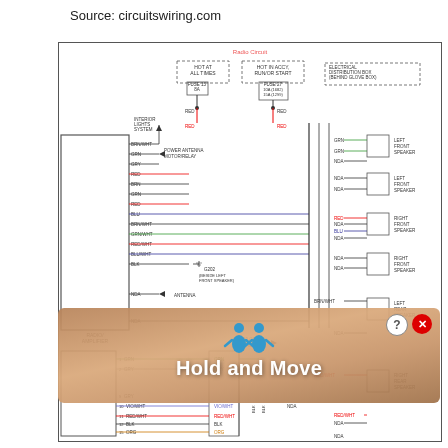Source: circuitswiring.com
[Figure (circuit-diagram): Automotive radio/amplifier wiring diagram showing connections between radio/amplifier unit, power antenna motor/relay, interior lights system, fuses (FUSE 15 8A, FUSE 27 10A/15A), electrical distribution box (behind glove box), ground G202 (beside left front speaker), speakers (left front, right front, left rear, right rear), antenna, and a 13-comb cable. Wire colors labeled: BRN/WHT, GRN, GRY, RED, BRN, GRN, RED, BLU, BRN/WHT, GRN/WHT, RED/WHT, BLU/WHT, BLK, NDA, GRN, GRY, VIO/WHT, RED/WHT, BLK, ORG, GRN, NDA, RED, BLU, NDA, RED/WHT, NDA. 'HOT AT ALL TIMES' and 'HOT IN ACCY, RUN/OR START' supply rails shown at top.]
[Figure (infographic): Overlay banner with brownish/tan diagonal texture, two blue human figure icons, and bold white text reading 'Hold and Move'. Also shows a question mark button and a red X close button in the top right of the banner.]